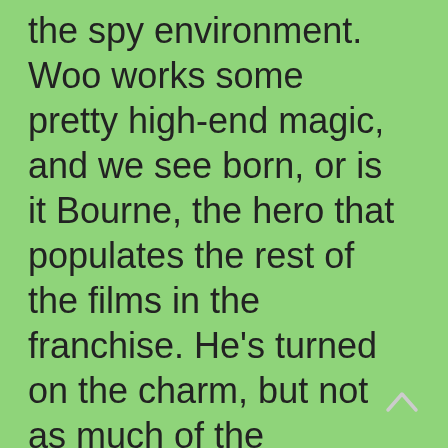the spy environment. Woo works some pretty high-end magic, and we see born, or is it Bourne, the hero that populates the rest of the films in the franchise. He's turned on the charm, but not as much of the arrogant charm that Cruise often displays. The character makes connections with other characters, and the decision to make the climactic encounter a pretty much one-on-one fight was a brilliant move that builds on the personal nature of the character. Now it's a little bit easier to sit on the edge of our